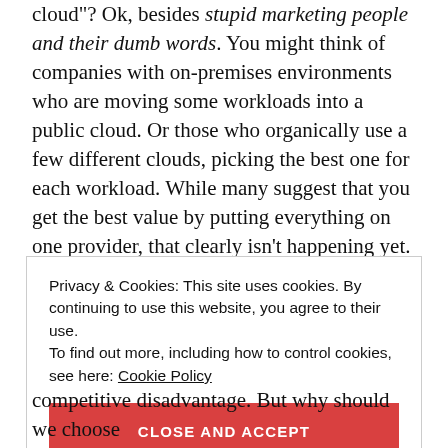cloud"? Ok, besides stupid marketing people and their dumb words. You might think of companies with on-premises environments who are moving some workloads into a public cloud. Or those who organically use a few different clouds, picking the best one for each workload. While many suggest that you get the best value by putting everything on one provider, that clearly isn't happening yet. And maybe it shouldn't. Who knows. But can you get the best of each cloud while retaining some portability? I think you can.
Privacy & Cookies: This site uses cookies. By continuing to use this website, you agree to their use.
To find out more, including how to control cookies, see here: Cookie Policy

CLOSE AND ACCEPT
competitive disadvantage. But why should we choose